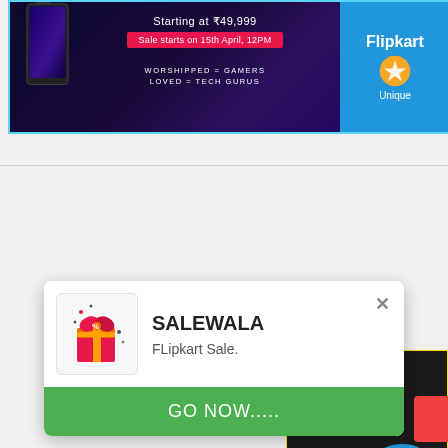[Figure (infographic): Flipkart banner ad showing a gaming phone starting at ₹49,999, sale starts 15th April 12PM, with Flipkart Unique logo on blue background]
[Figure (infographic): boAt audio products ad on dark background showing headphones and earbuds, text: Get Grooving with boAt Signature Sound, Shop Now]
[Figure (infographic): SALEWALA app notification popup with gift box icon, title SALEWALA, subtitle FLipkart Sale., and GO NOW..... green button]